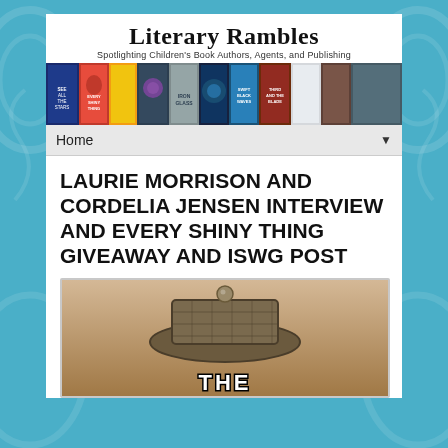Literary Rambles
Spotlighting Children's Book Authors, Agents, and Publishing
[Figure (illustration): A horizontal strip of colorful children's book covers]
LAURIE MORRISON AND CORDELIA JENSEN INTERVIEW AND EVERY SHINY THING GIVEAWAY AND ISWG POST
[Figure (illustration): Book cover showing an octagonal hat with a gold ball on top against a sepia/tan background, with the word THE visible at the bottom]